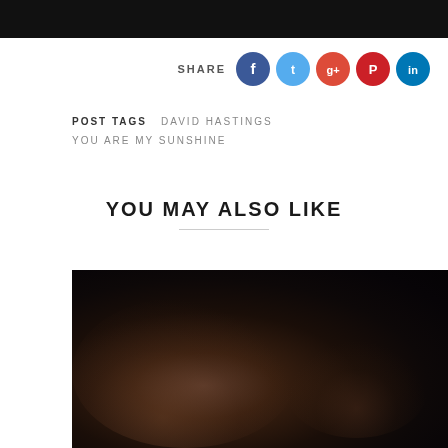[Figure (photo): Top portion of a dark photo showing two people, cropped at the top of the page]
SHARE
[Figure (infographic): Social media share icons: Facebook (blue), Twitter (light blue), Google+ (red), Pinterest (red/orange), LinkedIn (blue)]
POST TAGS   DAVID HASTINGS
YOU ARE MY SUNSHINE
YOU MAY ALSO LIKE
[Figure (photo): Dark photograph showing two people with short hair in close proximity, heads nearly touching, in a very dark/dimly lit setting]